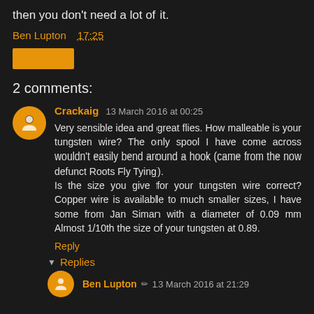then you don't need a lot of it.
Ben Lupton  17:25
[Figure (other): Orange rectangle button]
2 comments:
Crackaig  13 March 2016 at 00:25
Very sensible idea and great flies. How malleable is your tungsten wire? The only spool I have come across wouldn't easily bend around a hook (came from the now defunct Roots Fly Tying).
Is the size you give for your tungsten wire correct? Copper wire is available to much smaller sizes, I have some from Jan Siman with a diameter of 0.09 mm Almost 1/10th the size of your tungsten at 0.89.
Reply
Replies
Ben Lupton  ✏  13 March 2016 at 21:29